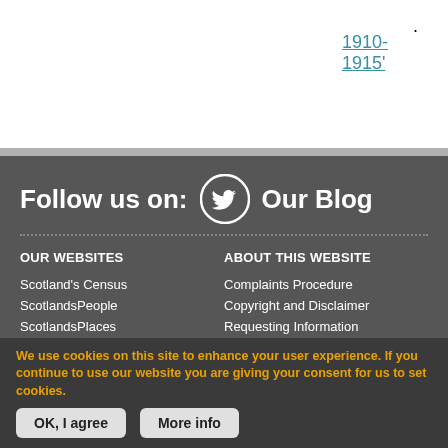1910-1915'.
Follow us on: [Twitter icon] Our Blog
OUR WEBSITES
ABOUT THIS WEBSITE
Scotland's Census
Complaints Procedure
ScotlandsPeople
Copyright and Disclaimer
ScotlandsPlaces
Requesting Information
Scottish Archives for Schools
Glossary of Terms
Scottish Handwriting
Privacy
The Scottish Archive Network
The Scottish Register of Tartans
We use cookies on this site to enhance your user experience. If you continue to use our website you are giving your consent for us to set cookies.
OK, I agree   More info